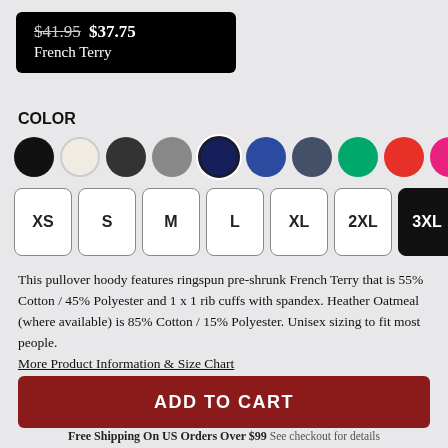$41.95 $37.75 French Terry
COLOR
[Figure (other): Color swatches row: black, cream/oatmeal, dark charcoal, gray, navy (selected with ring), blue, slate/steel blue, green, red, pink/hot pink, purple]
[Figure (other): Size selector buttons: XS, S, M, L, XL, 2XL, 3XL (3XL selected in black)]
This pullover hoody features ringspun pre-shrunk French Terry that is 55% Cotton / 45% Polyester and 1 x 1 rib cuffs with spandex. Heather Oatmeal (where available) is 85% Cotton / 15% Polyester. Unisex sizing to fit most people.
More Product Information & Size Chart
ADD TO CART
Free Shipping On US Orders Over $99 See checkout for details